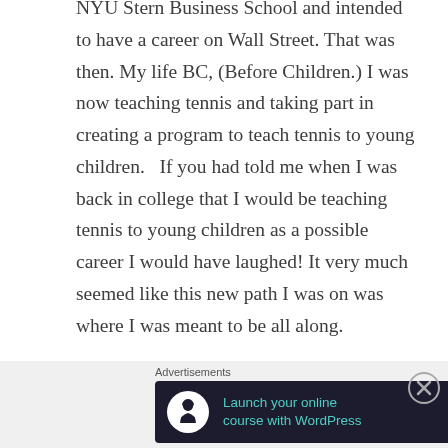NYU Stern Business School and intended to have a career on Wall Street. That was then. My life BC, (Before Children.) I was now teaching tennis and taking part in creating a program to teach tennis to young children.  If you had told me when I was back in college that I would be teaching tennis to young children as a possible career I would have laughed! It very much seemed like this new path I was on was where I was meant to be all along.
Although it was sometimes a bumpy road and navigation was frustrating because my primary concern was the raising of my children, my job was fulfilling, and I was learning so much and tapping
Advertisements
[Figure (other): Advertisement banner: dark navy background with tree/person icon in white circle on left, teal text 'Launch your online course with WordPress', and white 'Learn More' button on right.]